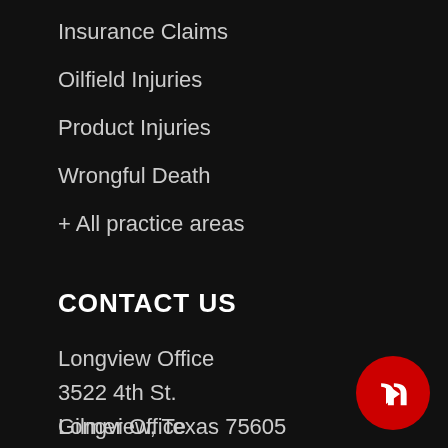Insurance Claims
Oilfield Injuries
Product Injuries
Wrongful Death
+ All practice areas
CONTACT US
Longview Office
3522 4th St.
Longview, Texas 75605
Gilmer Office
301 North Titus Street
[Figure (logo): Red circle with white quotation mark or flag icon in lower right corner]